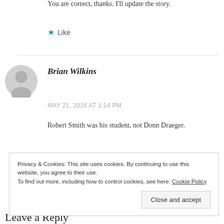You are correct, thanks. I'll update the story.
★ Like
[Figure (other): Gray circular avatar placeholder icon for commenter Brian Wilkins]
Brian Wilkins
MAY 21, 2016 AT 1:14 PM
Robert Smith was his student, not Donn Draeger.
Privacy & Cookies: This site uses cookies. By continuing to use this website, you agree to their use. To find out more, including how to control cookies, see here: Cookie Policy
Close and accept
Leave a Reply